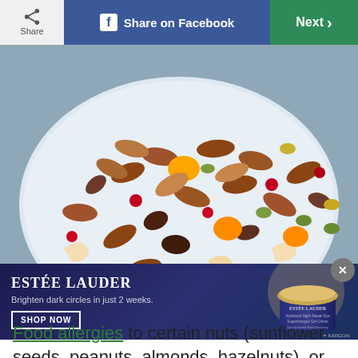Share | Share on Facebook | Next
[Figure (photo): A plate of mixed nuts and dried fruits including almonds, cashews, pecans, dried apricots, cranberries, and raisins on a white plate]
[Figure (photo): Estee Lauder advertisement: Advanced Night Repair Eye Supercharged Gel-Creme. Text: Brighton dark circles in just 2 weeks. SHOP NOW button. KARGOAI branding.]
Food allergies to certain nuts (sunflower seeds, peanuts, almonds, hazelnuts), or oils (corn...